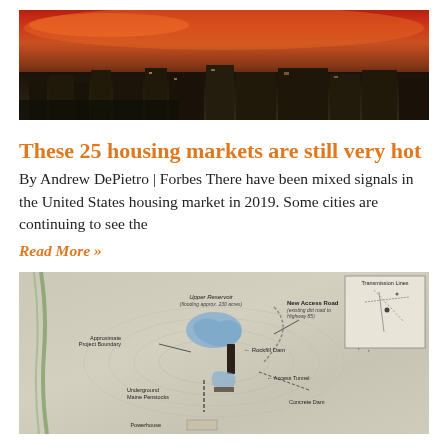[Figure (photo): Aerial cityscape photo at sunset with orange sky and silhouetted city buildings]
These 25 housing markets are still very hot
By Andrew DePietro | Forbes There have been mixed signals in the United States housing market in 2019. Some cities are continuing to see the
Read More »
[Figure (map): Engineering/project map showing Upper Reservoir, Rockfill Dam, New Access Road, Approximate Project Boundary, Underground Main Penstocks, Access Tunnel, Concrete Dam, Powerhouse, and Transmission Lines. Includes a small inset location map.]